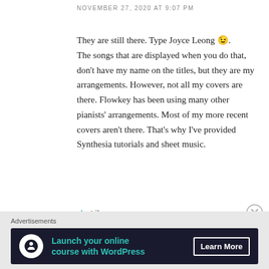NOVEMBER 27, 2020 AT 9:07 PM
They are still there. Type Joyce Leong 😉. The songs that are displayed when you do that, don't have my name on the titles, but they are my arrangements. However, not all my covers are there. Flowkey has been using many other pianists' arrangements. Most of my more recent covers aren't there. That's why I've provided Synthesia tutorials and sheet music.
★ Like
↩ Reply
Advertisements
[Figure (infographic): Advertisement banner with dark background showing 'Launch your online course with WordPress' with a Learn More button and a WordPress-style icon]